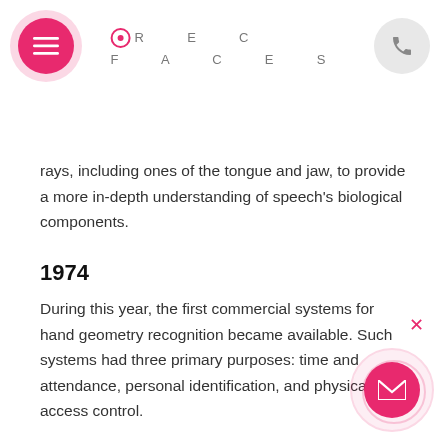REC FACES
rays, including ones of the tongue and jaw, to provide a more in-depth understanding of speech's biological components.
1974
During this year, the first commercial systems for hand geometry recognition became available. Such systems had three primary purposes: time and attendance, personal identification, and physical access control.
1975
The FBI provided funding for the production of minutia scanners and extracting technology – this directly led to the creation of more advanced...